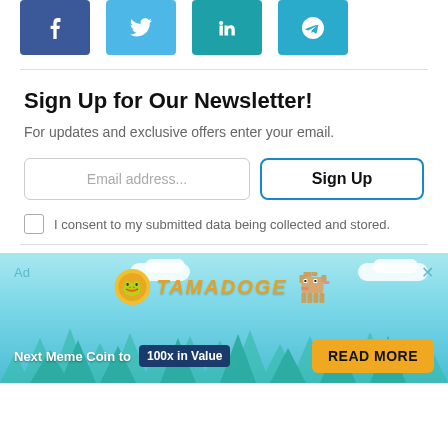[Figure (infographic): Social share buttons: Facebook (dark blue), Twitter (light blue), LinkedIn (teal), Telegram (blue)]
Sign Up for Our Newsletter!
For updates and exclusive offers enter your email.
Email address...
Sign Up
I consent to my submitted data being collected and stored.
[Figure (illustration): Tamadoge advertisement banner with pixel art dog, coin logo, sky/trees background. Text: 'Ad', 'TAMADOGE', 'Next Meme Coin to 100x in Value', 'READ MORE' button.]